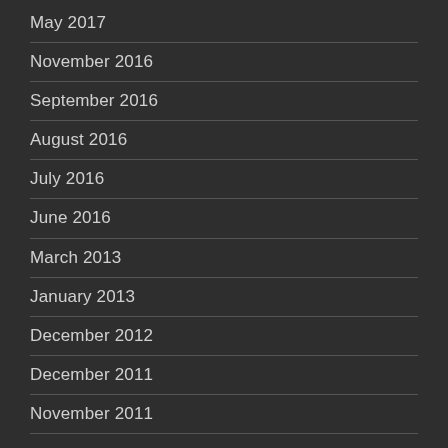May 2017
November 2016
September 2016
August 2016
July 2016
June 2016
March 2013
January 2013
December 2012
December 2011
November 2011